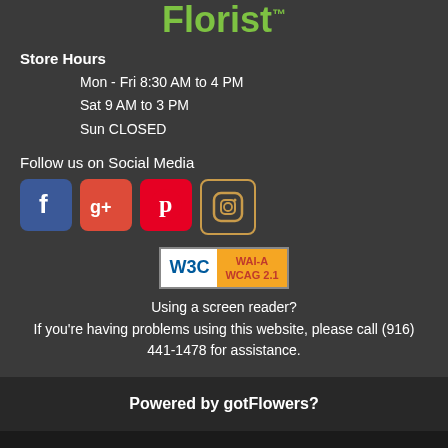[Figure (logo): Local Florist logo with green text and TM symbol]
Store Hours
Mon - Fri 8:30 AM to 4 PM
Sat 9 AM to 3 PM
Sun CLOSED
Follow us on Social Media
[Figure (infographic): Social media icons: Facebook, Google+, Pinterest, Instagram]
[Figure (logo): W3C WAI-A WCAG 2.1 accessibility badge]
Using a screen reader?
If you're having problems using this website, please call (916) 441-1478 for assistance.
Powered by gotFlowers?
All Rights Reserved © 2012-2022